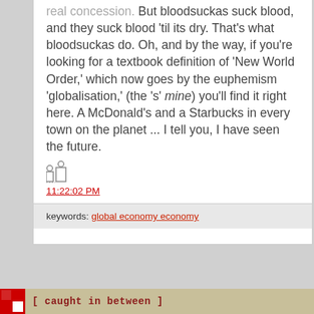real concession. But bloodsuckas suck blood, and they suck blood 'til its dry. That's what bloodsuckas do. Oh, and by the way, if you're looking for a textbook definition of 'New World Order,' which now goes by the euphemism 'globalisation,' (the 's' mine) you'll find it right here. A McDonald's and a Starbucks in every town on the planet ... I tell you, I have seen the future.
11:22:02 PM
keywords: global economy economy
[ caught in between ]